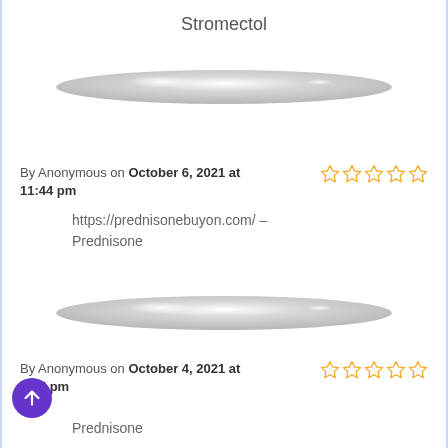Stromectol
[Figure (illustration): Pill-shaped divider graphic, gray gradient oval shape]
By Anonymous on October 6, 2021 at 11:44 pm
https://prednisonebuyon.com/ – Prednisone
[Figure (illustration): Pill-shaped divider graphic, gray gradient oval shape]
By Anonymous on October 4, 2021 at 9:17 pm
Prednisone